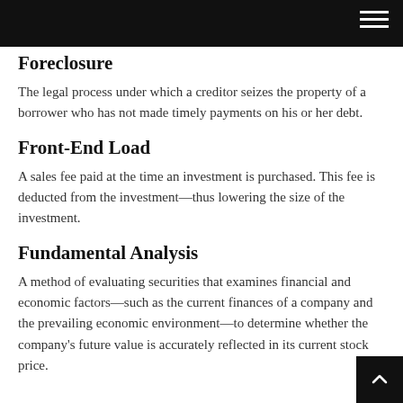Foreclosure
The legal process under which a creditor seizes the property of a borrower who has not made timely payments on his or her debt.
Front-End Load
A sales fee paid at the time an investment is purchased. This fee is deducted from the investment—thus lowering the size of the investment.
Fundamental Analysis
A method of evaluating securities that examines financial and economic factors—such as the current finances of a company and the prevailing economic environment—to determine whether the company's future value is accurately reflected in its current stock price.